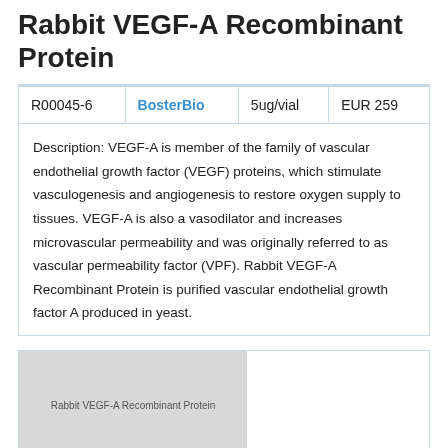Rabbit VEGF-A Recombinant Protein
| Catalog | Supplier | Size | Price |
| --- | --- | --- | --- |
| R00045-6 | BosterBio | 5ug/vial | EUR 259 |
Description: VEGF-A is member of the family of vascular endothelial growth factor (VEGF) proteins, which stimulate vasculogenesis and angiogenesis to restore oxygen supply to tissues. VEGF-A is also a vasodilator and increases microvascular permeability and was originally referred to as vascular permeability factor (VPF). Rabbit VEGF-A Recombinant Protein is purified vascular endothelial growth factor A produced in yeast.
[Figure (photo): Product image placeholder for Rabbit VEGF-A Recombinant Protein with label text overlay]